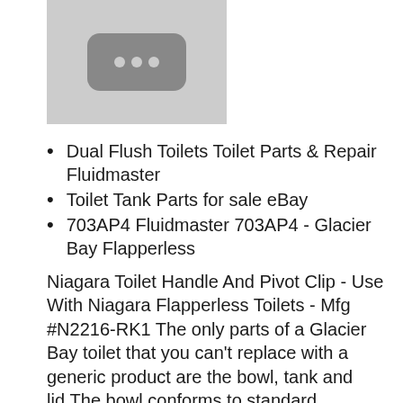[Figure (other): Thumbnail placeholder with dark rounded rectangle and three dots icon on grey background]
Dual Flush Toilets Toilet Parts & Repair Fluidmaster
Toilet Tank Parts for sale eBay
703AP4 Fluidmaster 703AP4 - Glacier Bay Flapperless
Niagara Toilet Handle And Pivot Clip - Use With Niagara Flapperless Toilets - Mfg #N2216-RK1 The only parts of a Glacier Bay toilet that you can't replace with a generic product are the bowl, tank and lid.The bowl conforms to standard dimensions, and any seat will fit it. Moreover, you can use flush and fill valves other than those specifically recommended for Glacier Bay toilets, because the water inlet holes and